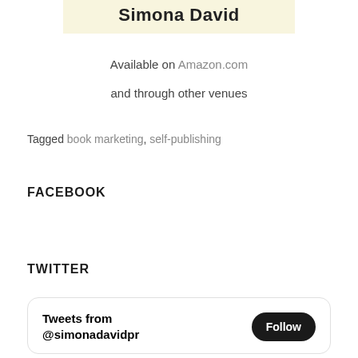Simona David
Available on Amazon.com
and through other venues
Tagged book marketing, self-publishing
FACEBOOK
TWITTER
Tweets from @simonadavidpr Follow